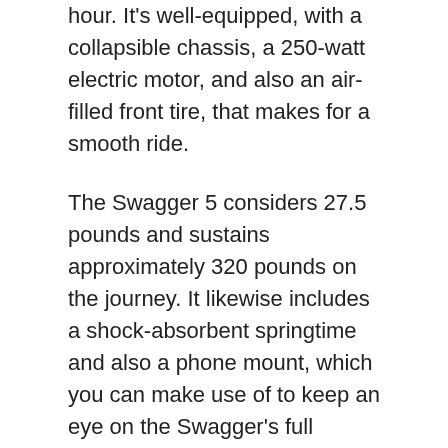hour. It's well-equipped, with a collapsible chassis, a 250-watt electric motor, and also an air-filled front tire, that makes for a smooth ride.
The Swagger 5 considers 27.5 pounds and sustains approximately 320 pounds on the journey. It likewise includes a shock-absorbent springtime and also a phone mount, which you can make use of to keep an eye on the Swagger's full throttle and battery power together with the Swagtron buddy app.
Nevertheless, its variety is a little bit extra minimal, and also it battles up hills more than other scooters.
Xiaomi Mi M365